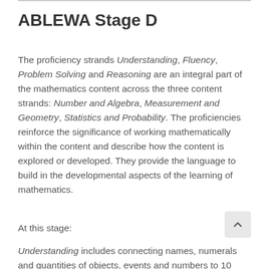ABLEWA Stage D
The proficiency strands Understanding, Fluency, Problem Solving and Reasoning are an integral part of the mathematics content across the three content strands: Number and Algebra, Measurement and Geometry, Statistics and Probability. The proficiencies reinforce the significance of working mathematically within the content and describe how the content is explored or developed. They provide the language to build in the developmental aspects of the learning of mathematics.
At this stage:
Understanding includes connecting names, numerals and quantities of objects, events and numbers to 10